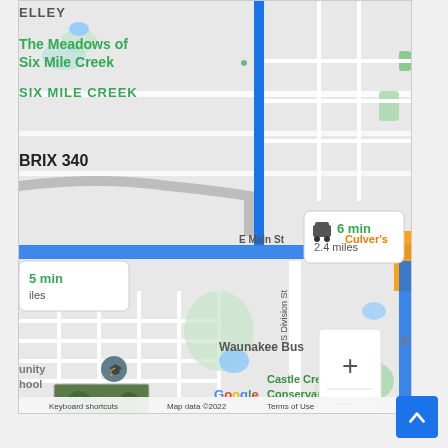[Figure (map): Google Maps screenshot showing a driving route in Waunakee, Wisconsin. Shows E Main St with a blue route highlight, route callout showing '6 min / 2.4 miles' with car icon, another callout showing '5 min / miles', neighborhood names including 'The Meadows of Six Mile Creek', 'SIX MILE CREEK', 'BRIX 340', 'Culver's', 'S Division St', 'Waunakee Bus', 'Castle Cre(ek) Conservar(ancy)', 'Community School', zoom controls (+/-), Google logo, and footer text 'Keyboard shortcuts  Map data ©2022  Terms of Use'.]
[Figure (screenshot): Blue scroll-to-top button with upward chevron arrow in bottom right of page.]